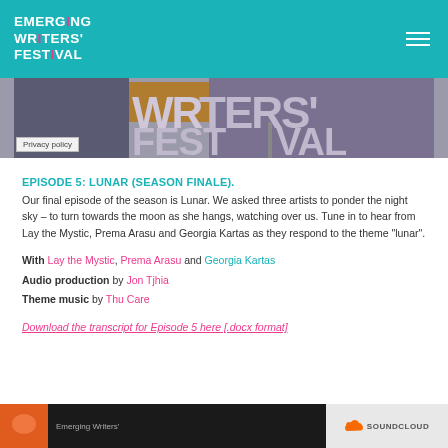EMERGING WRITERS' FESTIVAL
[Figure (screenshot): Partial hero image of Emerging Writers Festival branding with colored blocks and large text showing FEST|VAL, with a Privacy policy label overlay]
EPISODE 5: LUNAR (SEASON FINALE).
Our final episode of the season is Lunar. We asked three artists to ponder the night sky – to turn towards the moon as she hangs, watching over us. Tune in to hear from Lay the Mystic, Prema Arasu and Georgia Kartas as they respond to the theme "lunar".
With Lay the Mystic, Prema Arasu and Georgia Kartas
Audio production by Jon Tjhia
Theme music by Thu Care
Download the transcript for Episode 5 here [.docx format]
[Figure (screenshot): Emerging Writers' SoundCloud player strip at the bottom of the page]